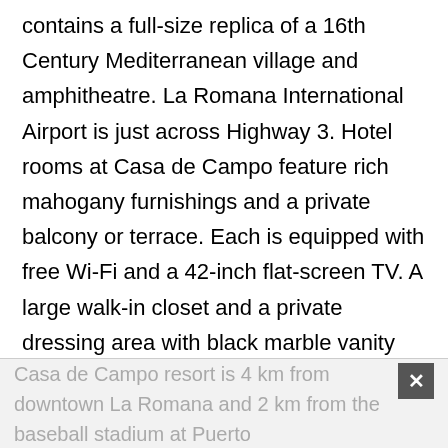contains a full-size replica of a 16th Century Mediterranean village and amphitheatre. La Romana International Airport is just across Highway 3. Hotel rooms at Casa de Campo feature rich mahogany furnishings and a private balcony or terrace. Each is equipped with free Wi-Fi and a 42-inch flat-screen TV. A large walk-in closet and a private dressing area with black marble vanity are included. Guests of the Casa have access to their own 4-passenger cart for touring the resort. A vast selection of activities is available, including the top-rated Teeth of the Dog golf course, water sports, and horseback riding. A health spa and nightly shows are also offered. On-site restaurants include the Beach Club by Le Cirque, serving seafood and grilled meats, and La Casita at the Marina, featuring fine Spanish cuisine. The
Casa de Campo resort is 4 km from downtown La Romana and 2 km from the baseball stadium at Puerto